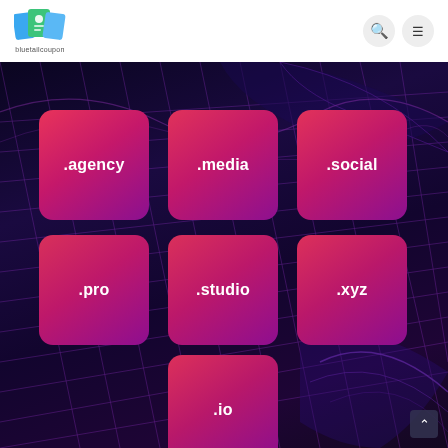bluetailcoupon
[Figure (infographic): A dark sci-fi grid background with 7 gradient domain extension cards arranged in three rows: .agency, .media, .social (top row); .pro, .studio, .xyz (middle row); .io (bottom center). Each card is a rounded pink-to-purple gradient square with white bold text.]